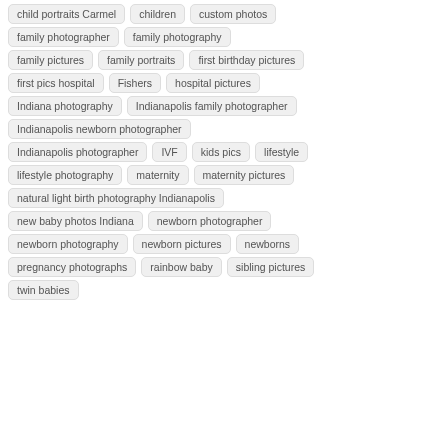child portraits Carmel
children
custom photos
family photographer
family photography
family pictures
family portraits
first birthday pictures
first pics hospital
Fishers
hospital pictures
Indiana photography
Indianapolis family photographer
Indianapolis newborn photographer
Indianapolis photographer
IVF
kids pics
lifestyle
lifestyle photography
maternity
maternity pictures
natural light birth photography Indianapolis
new baby photos Indiana
newborn photographer
newborn photography
newborn pictures
newborns
pregnancy photographs
rainbow baby
sibling pictures
twin babies